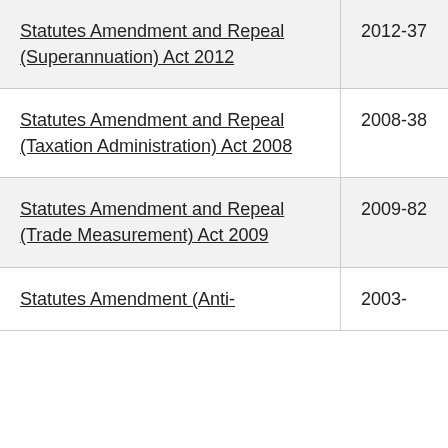| Statutes Amendment and Repeal (Superannuation) Act 2012 | 2012-37 |
| Statutes Amendment and Repeal (Taxation Administration) Act 2008 | 2008-38 |
| Statutes Amendment and Repeal (Trade Measurement) Act 2009 | 2009-82 |
| Statutes Amendment (Anti- | 2003- |